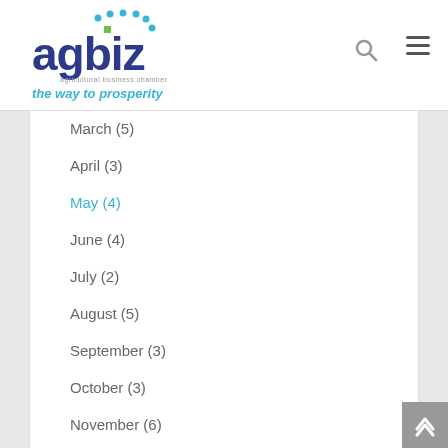agbiz agricultural business chamber — the way to prosperity
March (5)
April (3)
May (4)
June (4)
July (2)
August (5)
September (3)
October (3)
November (6)
December (4)
2020
2019